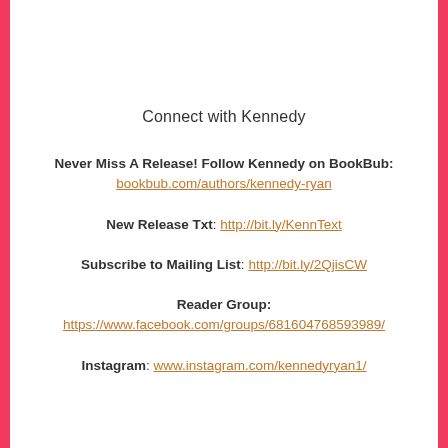Connect with Kennedy
Never Miss A Release! Follow Kennedy on BookBub:
bookbub.com/authors/kennedy-ryan
New Release Txt: http://bit.ly/KennText
Subscribe to Mailing List: http://bit.ly/2QjisCW
Reader Group:
https://www.facebook.com/groups/681604768593989/
Instagram: www.instagram.com/kennedyryan1/